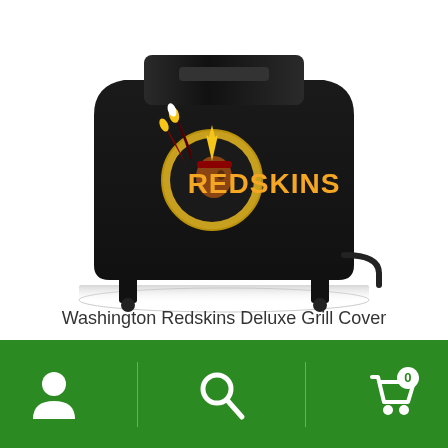[Figure (photo): Black grill cover with Washington Redskins logo and REDSKINS text in gold, displayed on a white background with a subtle shadow beneath]
Washington Redskins Deluxe Grill Cover
$48.95
Read more
[Figure (photo): Partial view of a second product showing Washington Redskins themed item with burgundy, gold, and white colors]
Navigation bar with user icon, search icon, and cart icon showing 0 items